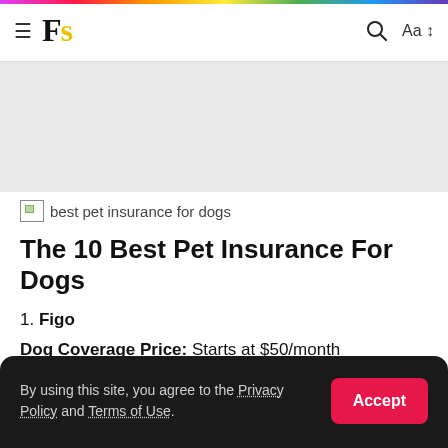Fs — navigation bar with hamburger menu, logo, search icon, and Aa font control
[Figure (other): Gray advertisement/banner placeholder area]
[Figure (other): Broken image placeholder for 'best pet insurance for dogs']
The 10 Best Pet Insurance For Dogs
1. Figo
Dog Coverage Price: Starts at $50/month
By using this site, you agree to the Privacy Policy and Terms of Use.